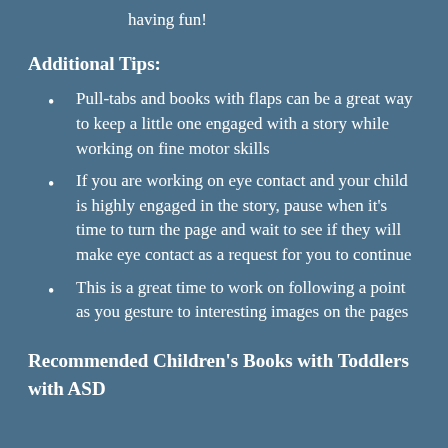having fun!
Additional Tips:
Pull-tabs and books with flaps can be a great way to keep a little one engaged with a story while working on fine motor skills
If you are working on eye contact and your child is highly engaged in the story, pause when it's time to turn the page and wait to see if they will make eye contact as a request for you to continue
This is a great time to work on following a point as you gesture to interesting images on the pages
Recommended Children's Books with Toddlers with ASD